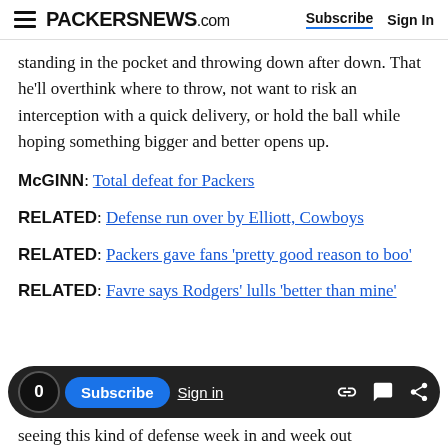PACKERSNEWS.com  Subscribe  Sign In
standing in the pocket and throwing down after down. That he'll overthink where to throw, not want to risk an interception with a quick delivery, or hold the ball while hoping something bigger and better opens up.
McGINN: Total defeat for Packers
RELATED: Defense run over by Elliott, Cowboys
RELATED: Packers gave fans 'pretty good reason to boo'
RELATED: Favre says Rodgers' lulls 'better than mine'
seeing this kind of defense week in and week out